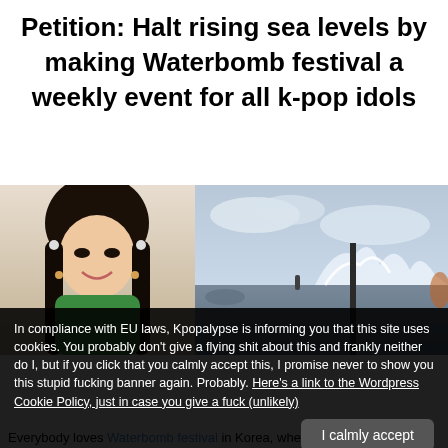Petition: Halt rising sea levels by making Waterbomb festival a weekly event for all k-pop idols
[Figure (photo): Photo of a young woman (K-pop idol) smiling, wearing a green off-shoulder top, with dark braided hair decorated with white flowers]
[Figure (photo): Photo of a coastal/waterfront scene with large waves crashing near a pole or post, cloudy sky, water in background]
In compliance with EU laws, Kpopalypse is informing you that this site uses cookies. You probably don't give a flying shit about this and frankly neither do I, but if you click that you calmly accept this, I promise never to show you this stupid fucking banner again. Probably. Here's a link to the Wordpress Cookie Policy, just in case you give a fuck (unlikely)
I calmly accept
Everybody loves Waterbomb festival in Korea, where